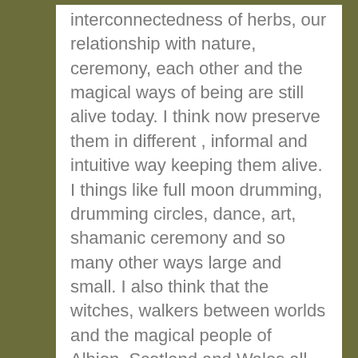interconnectedness of herbs, our relationship with nature, ceremony, each other and the magical ways of being are still alive today. I think now preserve them in different , informal and intuitive way keeping them alive. I things like full moon drumming, drumming circles, dance, art, shamanic ceremony and so many other ways large and small. I also think that the witches, walkers between worlds and the magical people of Albion, Scotland and Wales all have their roots in a shamanic way of being. I really like this article, it covers a lot and I see the work of Way of the Buzzard as very valuable, especially as it is